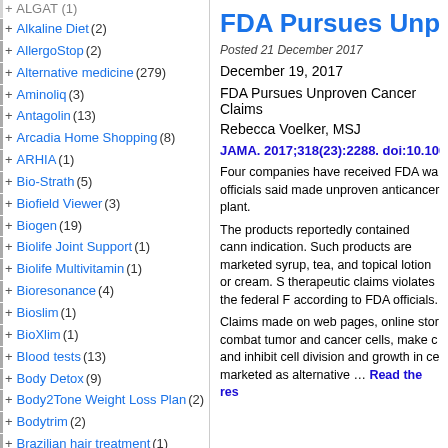+ ALGAT (1)
+ Alkaline Diet (2)
+ AllergoStop (2)
+ Alternative medicine (279)
+ Aminoliq (3)
+ Antagolin (13)
+ Arcadia Home Shopping (8)
+ ARHIA (1)
+ Bio-Strath (5)
+ Biofield Viewer (3)
+ Biogen (19)
+ Biolife Joint Support (1)
+ Biolife Multivitamin (1)
+ Bioresonance (4)
+ Bioslim (1)
+ BioXlim (1)
+ Blood tests (13)
+ Body Detox (9)
+ Body2Tone Weight Loss Plan (2)
+ Bodytrim (2)
+ Brazilian hair treatment (1)
+ Breast Enhancers (4)
+ Breast thermography (1)
+ Cancer (4)
+ Collagen (8)
FDA Pursues Unpro...
Posted 21 December 2017
December 19, 2017
FDA Pursues Unproven Cancer Claims
Rebecca Voelker, MSJ
JAMA. 2017;318(23):2288. doi:10.100...
Four companies have received FDA wa... officials said made unproven anticancer... plant.
The products reportedly contained cann... indication. Such products are marketed... syrup, tea, and topical lotion or cream. S... therapeutic claims violates the federal F... according to FDA officials.
Claims made on web pages, online stor... combat tumor and cancer cells, make c... and inhibit cell division and growth in ce... marketed as alternative … Read the res...